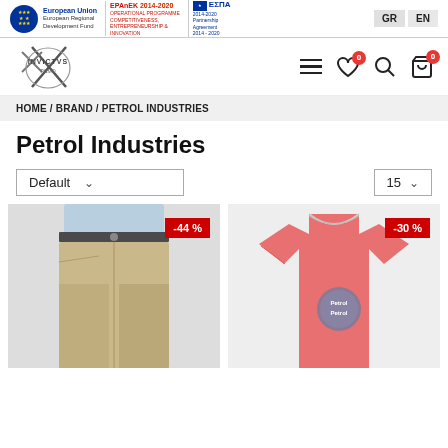European Union European Regional Development Fund | EPAnEK 2014-2020 | ΕΣΠΑ 2014-2020 Partnership Agreement | GR EN
[Figure (logo): INVICTUS brand logo with crossed swords]
HOME / BRAND / PETROL INDUSTRIES
Petrol Industries
Default  ∨        15 ∨
[Figure (photo): Khaki chinos trousers with dark belt, -44% discount badge]
[Figure (photo): Salmon/coral pink t-shirt with Petrol logo, -30% discount badge]